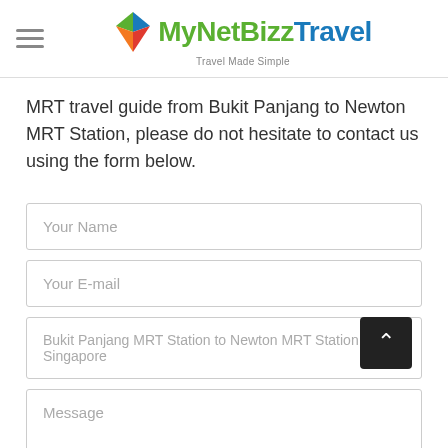MyNetBizz Travel — Travel Made Simple
MRT travel guide from Bukit Panjang to Newton MRT Station, please do not hesitate to contact us using the form below.
Your Name
Your E-mail
Bukit Panjang MRT Station to Newton MRT Station, Singapore
Message